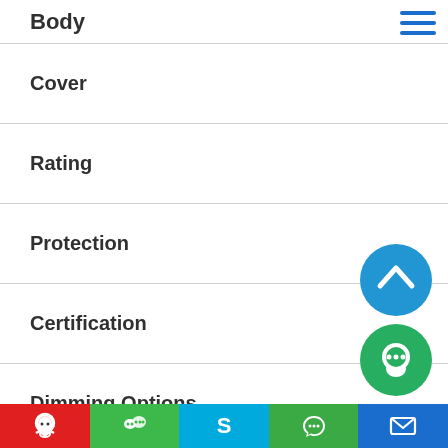Body
Cover
Rating
Protection
Certification
Dimming Options
Control Options
Color Options
Warranty
[Figure (screenshot): Scroll-to-top circular blue FAB button with upward chevron icon]
[Figure (screenshot): Green circular chat/support FAB button]
QQ | WeChat | Skype | WhatsApp | Email contact buttons